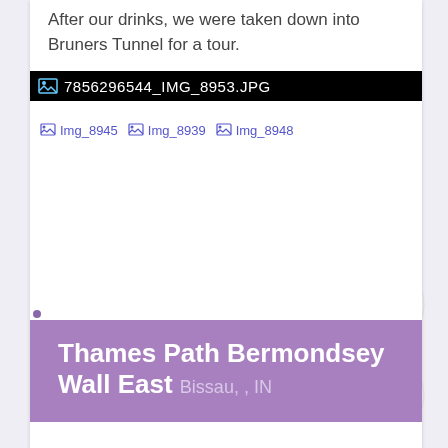After our drinks, we were taken down into Bruners Tunnel for a tour.
[Figure (screenshot): Black bar with broken image icon and filename label: 7856296544_IMG_8953.JPG]
[Figure (screenshot): Three broken image thumbnails labeled Img_8945, Img_8939, Img_8948]
Thames Path Bermondsey Wall East Bissau, , IN